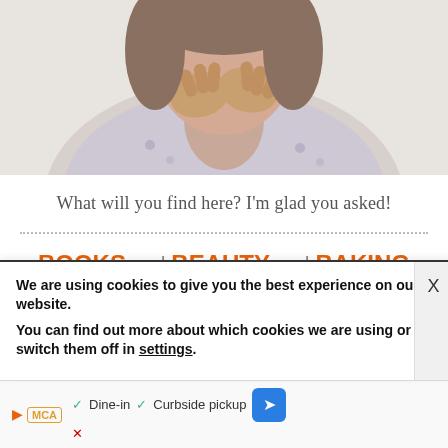[Figure (photo): Person with hands clasped near face, wearing a light patterned top, cropped at shoulders]
What will you find here? I'm glad you asked!
BOOKS and BEAUTY and BAKING
FARM and FOOD and FAITH
We are using cookies to give you the best experience on our website.
You can find out more about which cookies we are using or switch them off in settings.
[Figure (screenshot): Ad banner with play icon, MCA badge, checkmarks, Dine-in, Curbside pickup text, and blue navigation diamond icon]